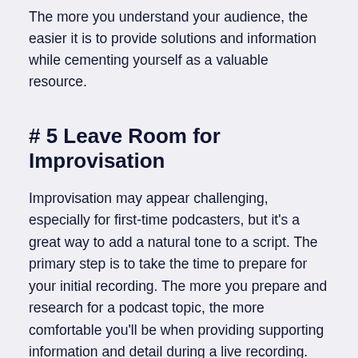The more you understand your audience, the easier it is to provide solutions and information while cementing yourself as a valuable resource.
# 5 Leave Room for Improvisation
Improvisation may appear challenging, especially for first-time podcasters, but it's a great way to add a natural tone to a script. The primary step is to take the time to prepare for your initial recording. The more you prepare and research for a podcast topic, the more comfortable you'll be when providing supporting information and detail during a live recording.
Remember that podcasting isn't live radio. Anything that doesn't work can be edited out in post...